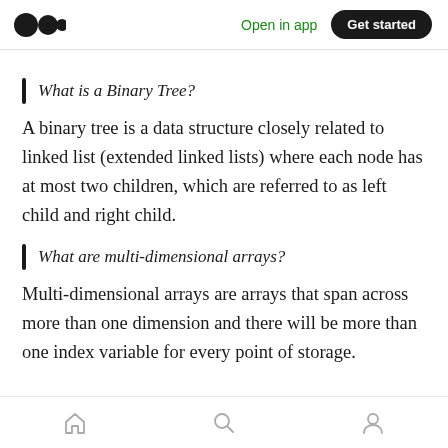Open in app | Get started
What is a Binary Tree?
A binary tree is a data structure closely related to linked list (extended linked lists) where each node has at most two children, which are referred to as left child and right child.
What are multi-dimensional arrays?
Multi-dimensional arrays are arrays that span across more than one dimension and there will be more than one index variable for every point of storage.
Home | Search | Profile